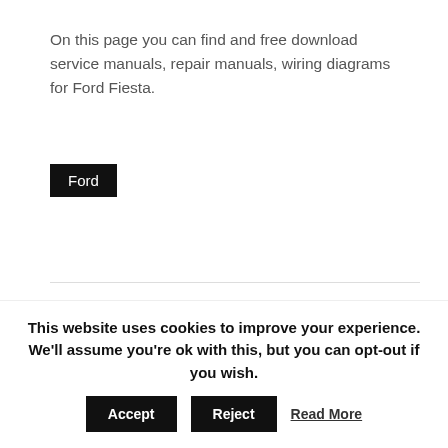On this page you can find and free download service manuals, repair manuals, wiring diagrams for Ford Fiesta.
Ford
1
2
Attention, please!
Dear visitors of CarManualsClub, some of the manuals are not available at the moment, but we will fix this moment as
This website uses cookies to improve your experience. We'll assume you're ok with this, but you can opt-out if you wish.
Accept
Reject
Read More